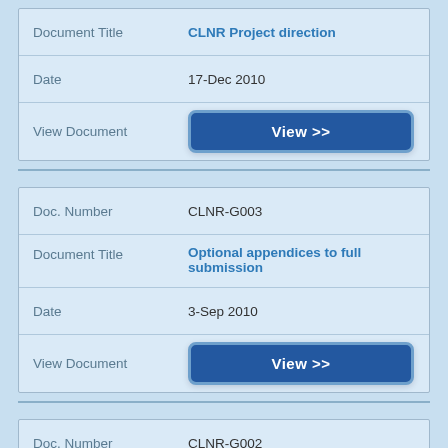| Field | Value |
| --- | --- |
| Document Title | CLNR Project direction |
| Date | 17-Dec 2010 |
| View Document | View >> |
| Field | Value |
| --- | --- |
| Doc. Number | CLNR-G003 |
| Document Title | Optional appendices to full submission |
| Date | 3-Sep 2010 |
| View Document | View >> |
| Field | Value |
| --- | --- |
| Doc. Number | CLNR-G002 |
| Document Title | Mandatory appendices to |